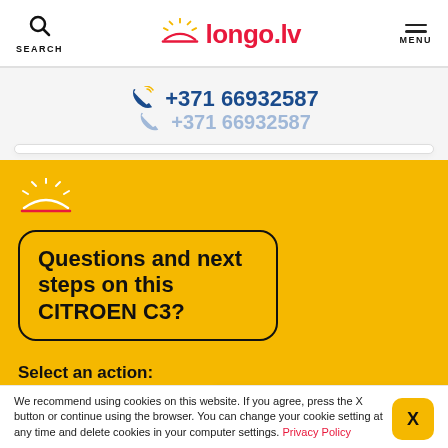SEARCH | longo.lv | MENU
+371 66932587
+371 66932587
[Figure (logo): longo.lv logo on yellow background with sun/road icon]
Questions and next steps on this CITROEN C3?
Select an action:
Is this right car for me?
We recommend using cookies on this website. If you agree, press the X button or continue using the browser. You can change your cookie setting at any time and delete cookies in your computer settings. Privacy Policy